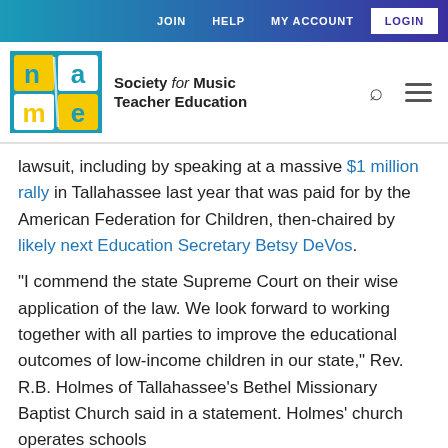JOIN   HELP   MY ACCOUNT   LOGIN
[Figure (logo): NAME Society for Music Teacher Education logo with teal/blue square containing stylized letters n, a, m, e in yellow and white]
lawsuit, including by speaking at a massive $1 million rally in Tallahassee last year that was paid for by the American Federation for Children, then-chaired by likely next Education Secretary Betsy DeVos.
“I commend the state Supreme Court on their wise application of the law. We look forward to working together with all parties to improve the educational outcomes of low-income children in our state,” Rev. R.B. Holmes of Tallahassee’s Bethel Missionary Baptist Church said in a statement. Holmes’ church operates schools